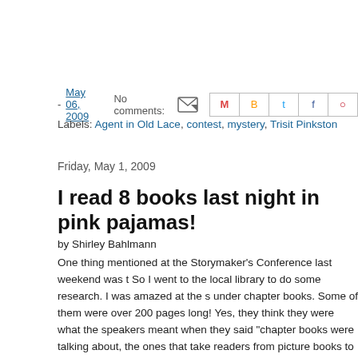- May 06, 2009   No comments:   [share icons]
Labels: Agent in Old Lace, contest, mystery, Trisit Pinkston
Friday, May 1, 2009
I read 8 books last night in pink pajamas!
by Shirley Bahlmann
One thing mentioned at the Storymaker's Conference last weekend was t So I went to the local library to do some research. I was amazed at the s under chapter books. Some of them were over 200 pages long! Yes, they think they were what the speakers meant when they said "chapter books were talking about, the ones that take readers from picture books to YA m too, and read 8 books last night. I just curled up in bed with a handful of c of grape juice and read and read until my 18-year-old asked me to go to car stereos.
Now, I ask you, what do I know about car stereos? But he agreed I coul